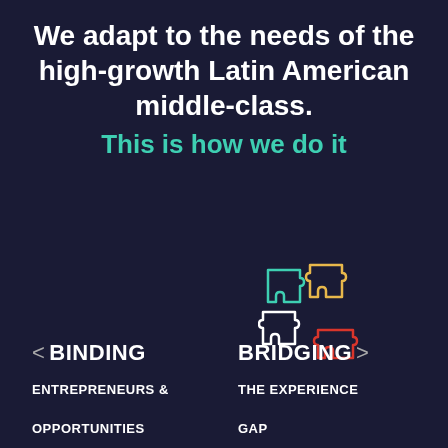We adapt to the needs of the high-growth Latin American middle-class.
This is how we do it
[Figure (illustration): Colorful puzzle pieces icon: teal, yellow, white, and red outlined puzzle pieces arranged together]
< BINDING
ENTREPRENEURS & OPPORTUNITIES
BRIDGING >
THE EXPERIENCE GAP